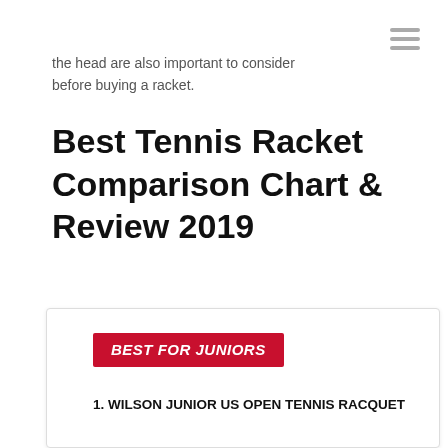the head are also important to consider before buying a racket.
Best Tennis Racket Comparison Chart & Review 2019
BEST FOR JUNIORS
1. WILSON JUNIOR US OPEN TENNIS RACQUET
Strung Weight: 23" - 7.1 oz
Balance: 23" - 16 x 19